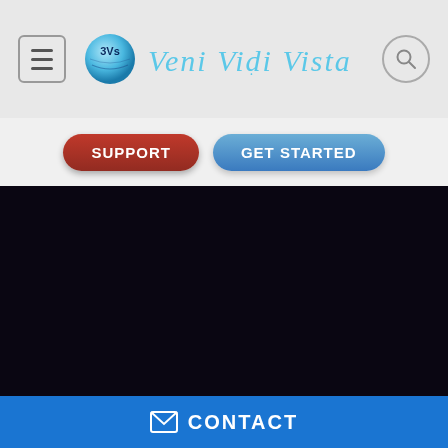[Figure (logo): 3Vs logo ball with 'Veni Vidi Vista' cursive text header]
SUPPORT
GET STARTED
[Figure (photo): Dark/black hero image area]
✉ CONTACT